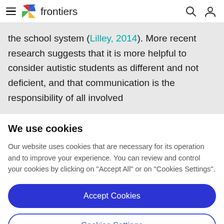frontiers
the school system (Lilley, 2014). More recent research suggests that it is more helpful to consider autistic students as different and not deficient, and that communication is the responsibility of all involved
We use cookies
Our website uses cookies that are necessary for its operation and to improve your experience. You can review and control your cookies by clicking on "Accept All" or on "Cookies Settings".
Accept Cookies
Cookies Settings